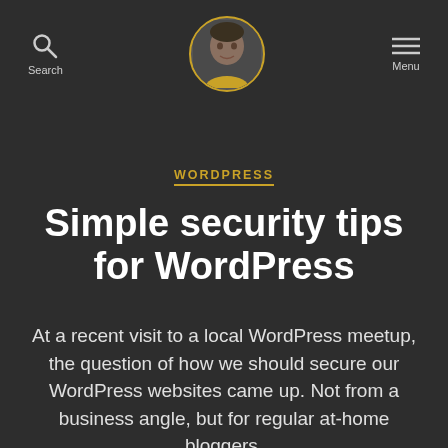Search | [Avatar] | Menu
WORDPRESS
Simple security tips for WordPress
At a recent visit to a local WordPress meetup, the question of how we should secure our WordPress websites came up. Not from a business angle, but for regular at-home bloggers.